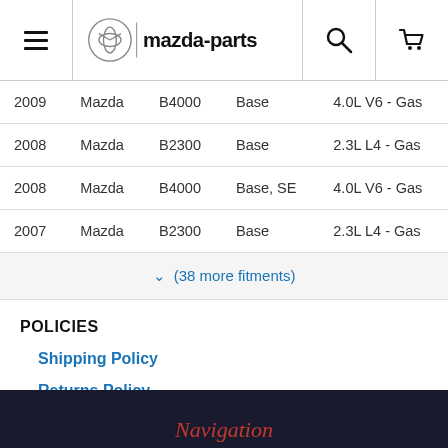mazda-parts navigation bar with hamburger menu, logo, search, and cart icons
| Year | Make | Model | Trim | Engine |
| --- | --- | --- | --- | --- |
| 2009 | Mazda | B4000 | Base | 4.0L V6 - Gas |
| 2008 | Mazda | B2300 | Base | 2.3L L4 - Gas |
| 2008 | Mazda | B4000 | Base, SE | 4.0L V6 - Gas |
| 2007 | Mazda | B2300 | Base | 2.3L L4 - Gas |
(38 more fitments)
POLICIES
Shipping Policy
Returns Policy
Contact Us
Navigation